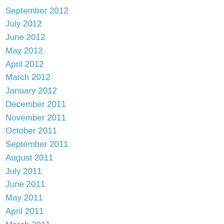September 2012
July 2012
June 2012
May 2012
April 2012
March 2012
January 2012
December 2011
November 2011
October 2011
September 2011
August 2011
July 2011
June 2011
May 2011
April 2011
March 2011
February 2011
January 2011
December 2010